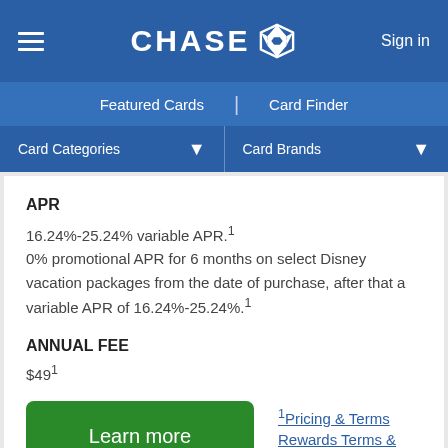[Figure (logo): Chase bank logo with octagon icon and CHASE text in white on blue navigation bar]
Featured Cards | Card Finder
Card Categories  ▾   Card Brands  ▾
APR
16.24%-25.24% variable APR.¹
0% promotional APR for 6 months on select Disney vacation packages from the date of purchase, after that a variable APR of 16.24%-25.24%.¹
ANNUAL FEE
$49¹
Learn more
¹Pricing & Terms
Rewards Terms & Conditions